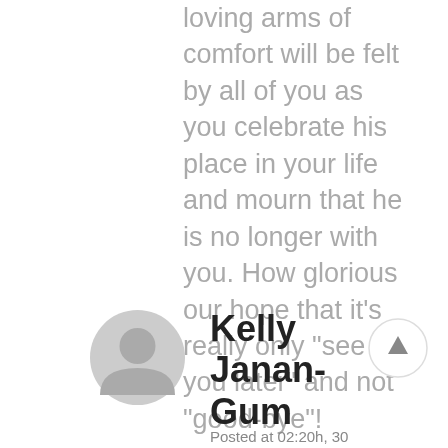loving arms of comfort will be felt by all of you as you celebrate his place in your life and mourn that he is no longer with you. How glorious our hope that it's really only "see you later" and not "good-bye"!
[Figure (illustration): Circular user avatar placeholder icon in light gray]
Kelly Janan-Gum
Posted at 02:20h, 30